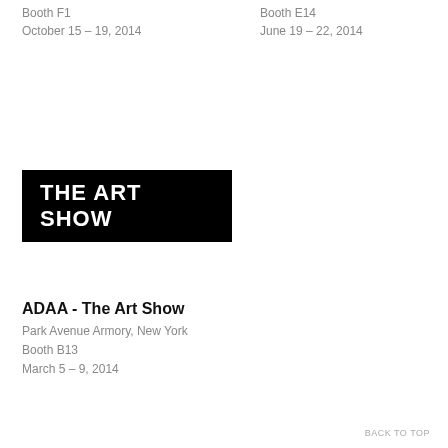Booth F1
October 15 – 19, 2014
Booth E14
June 19 – 22, 2014
[Figure (logo): THE ART SHOW logo — white bold uppercase text on black background]
ADAA - The Art Show
Park Avenue Armory, New York
Booth B13
March 5 – 9, 2014
BACK TO TOP